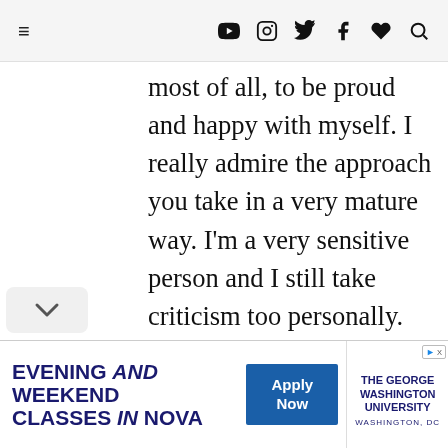Navigation bar with hamburger menu and social icons (YouTube, Instagram, Twitter, Facebook, heart/save, search)
most of all, to be proud and happy with myself. I really admire the approach you take in a very mature way. I'm a very sensitive person and I still take criticism too personally. It's hard not to but I'm trying. I think I'll come back to this post again and again when I feel down because it is inspiring to see you fight and hold your head high and be proud of who you are.
[Figure (other): Scroll/collapse chevron button on left side]
[Figure (other): Advertisement banner: EVENING and WEEKEND CLASSES in NOVA with Apply Now button and The George Washington University logo, Washington DC]